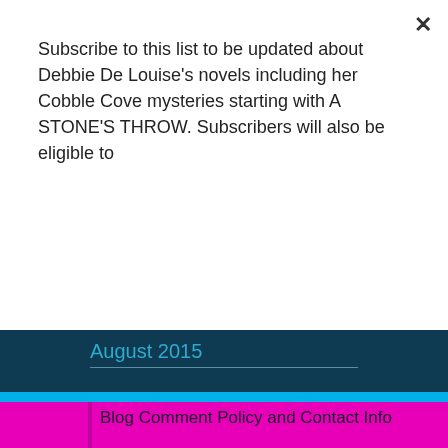Subscribe to this list to be updated about Debbie De Louise's novels including her Cobble Cove mysteries starting with A STONE'S THROW. Subscribers will also be eligible to
Subscribe
August 2015
Blog Comment Policy and Contact Info
I encourage you to leave comments. I'll reply to all questions in a timely manner, and errors in the posts will be acknowledged in the comment area. Feel free to disagree with my points if